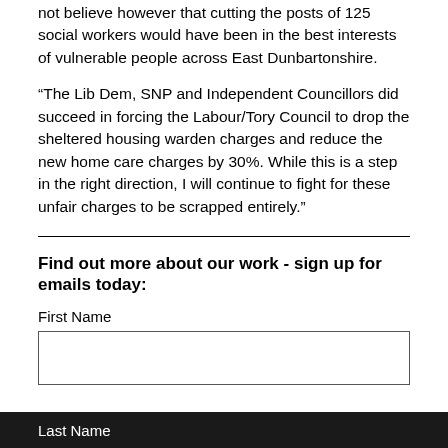not believe however that cutting the posts of 125 social workers would have been in the best interests of vulnerable people across East Dunbartonshire.
“The Lib Dem, SNP and Independent Councillors did succeed in forcing the Labour/Tory Council to drop the sheltered housing warden charges and reduce the new home care charges by 30%. While this is a step in the right direction, I will continue to fight for these unfair charges to be scrapped entirely.”
Find out more about our work - sign up for emails today:
First Name
Last Name